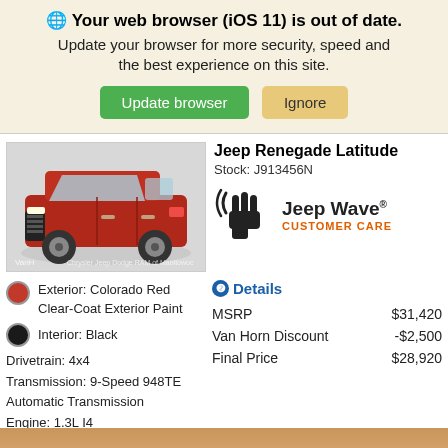🌐 Your web browser (iOS 11) is out of date. Update your browser for more security, speed and the best experience on this site.
Update browser | Ignore
[Figure (photo): Red Jeep Renegade Latitude vehicle photo on a white/grey background, with VanHorn dealership watermark]
Jeep Renegade Latitude
Stock: J913456N
[Figure (logo): Jeep Wave Customer Care logo — hand icon with Jeep Wave text and CUSTOMER CARE in orange]
Exterior: Colorado Red Clear-Coat Exterior Paint
Interior: Black
Drivetrain: 4x4
Transmission: 9-Speed 948TE Automatic Transmission
Engine: 1.3L I4
❷Details
|  |  |
| --- | --- |
| MSRP | $31,420 |
| Van Horn Discount | -$2,500 |
| Final Price | $28,920 |
CONTACT US
[Figure (photo): Partial view of another vehicle at the very bottom of the page (orange/tan color strip)]